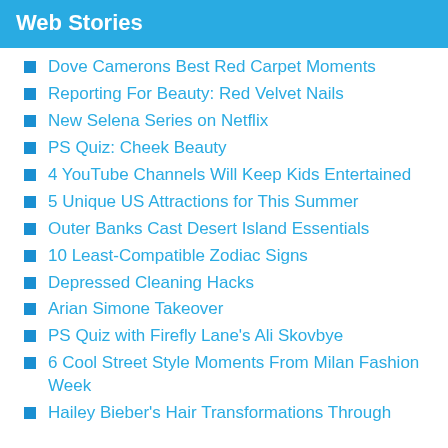Web Stories
Dove Camerons Best Red Carpet Moments
Reporting For Beauty: Red Velvet Nails
New Selena Series on Netflix
PS Quiz: Cheek Beauty
4 YouTube Channels Will Keep Kids Entertained
5 Unique US Attractions for This Summer
Outer Banks Cast Desert Island Essentials
10 Least-Compatible Zodiac Signs
Depressed Cleaning Hacks
Arian Simone Takeover
PS Quiz with Firefly Lane's Ali Skovbye
6 Cool Street Style Moments From Milan Fashion Week
Hailey Bieber's Hair Transformations Through